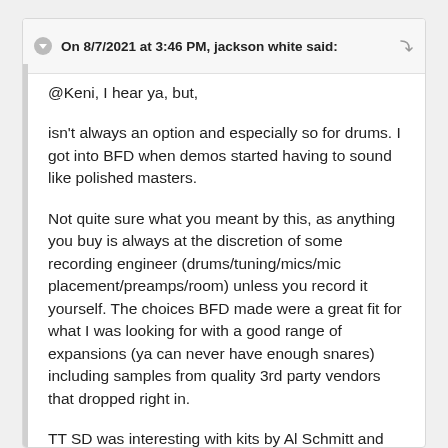On 8/7/2021 at 3:46 PM, jackson white said:
@Keni, I hear ya, but,
isn't always an option and especially so for drums. I got into BFD when demos started having to sound like polished masters.
Not quite sure what you meant by this, as anything you buy is always at the discretion of some recording engineer (drums/tuning/mics/mic placement/preamps/room) unless you record it yourself. The choices BFD made were a great fit for what I was looking for with a good range of expansions (ya can never have enough snares) including samples from quality 3rd party vendors that dropped right in.
TT SD was interesting with kits by Al Schmitt and Chuck Ainley but I wasn't finding what I was used to